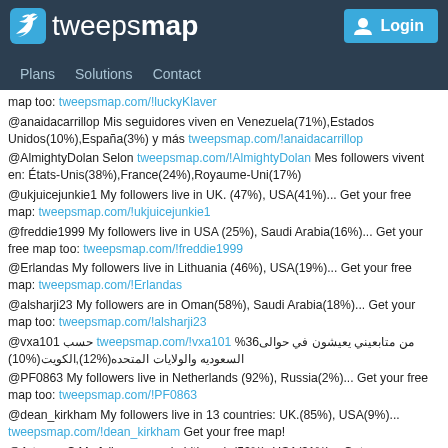tweepsmap — Plans Solutions Contact — Login
map too: tweepsmap.com/!luckyKlaver
@anaidacarrillop Mis seguidores viven en Venezuela(71%),Estados Unidos(10%),España(3%) y más tweepsmap.com/!anaidacarrillop
@AlmightyDolan Selon tweepsmap.com/!AlmightyDolan Mes followers vivent en: États-Unis(38%),France(24%),Royaume-Uni(17%)
@ukjuicejunkie1 My followers live in UK. (47%), USA(41%)... Get your free map: tweepsmap.com/!ukjuicejunkie1
@freddie1999 My followers live in USA (25%), Saudi Arabia(16%)... Get your free map too: tweepsmap.com/!freddie1999
@Erlandas My followers live in Lithuania (46%), USA(19%)... Get your free map: tweepsmap.com/!Erlandas
@alsharji23 My followers are in Oman(58%), Saudi Arabia(18%)... Get your map too: tweepsmap.com/!alsharji23
@vxa101 حسب tweepsmap.com/!vxa101 من متابعيني يعيشون في حوالى36% السعوديه والولايات المتحده(%12),الكويت(%10)
@PF0863 My followers live in Netherlands (92%), Russia(2%)... Get your free map too: tweepsmap.com/!PF0863
@dean_kirkham My followers live in 13 countries: UK.(85%), USA(9%)... tweepsmap.com/!dean_kirkham Get your free map!
@Arturas_C My followers are in Lithuania(50%), USA(31%)... Get your map too: tweepsmap.com/!Arturas_C
@TheRobRyan My followers are in USA(46%), UK.(6%)... Get your map too: tweepsmap.com/!TheRobRyan